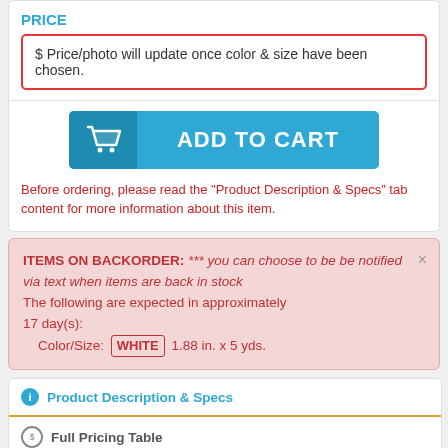PRICE
$ Price/photo will update once color & size have been chosen.
[Figure (other): Blue ADD TO CART button with shopping cart icon]
Before ordering, please read the "Product Description & Specs" tab content for more information about this item.
ITEMS ON BACKORDER: *** you can choose to be notified via text when items are back in stock The following are expected in approximately 17 day(s): Color/Size: WHITE 1.88 in. x 5 yds.
Product Description & Specs
Full Pricing Table